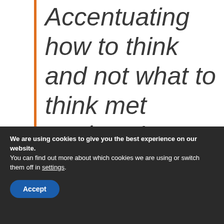Accentuating how to think and not what to think met students'
We are using cookies to give you the best experience on our website.
You can find out more about which cookies we are using or switch them off in settings.